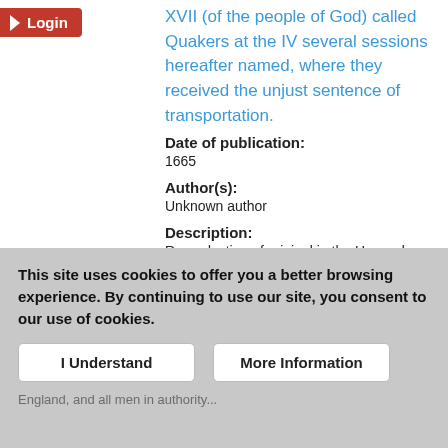Login
XVII (of the people of God) called Quakers at the IV several sessions hereafter named, where they received the unjust sentence of transportation.
Date of publication:
1665
Author(s):
Unknown author
Description:
Reproduction of original in the Harvard University Library.
This item contains 4 files (91.18 KB).
Publicly Available
This site uses cookies to offer you a better browsing experience. By continuing to use our site, you consent to our use of cookies.
I Understand   More Information
England, and all men in authority...